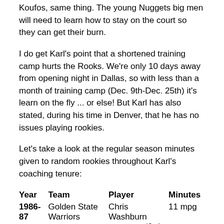Koufos, same thing. The young Nuggets big men will need to learn how to stay on the court so they can get their burn.
I do get Karl's point that a shortened training camp hurts the Rooks. We're only 10 days away from opening night in Dallas, so with less than a month of training camp (Dec. 9th-Dec. 25th) it's learn on the fly ... or else! But Karl has also stated, during his time in Denver, that he has no issues playing rookies.
Let's take a look at the regular season minutes given to random rookies throughout Karl's coaching tenure:
| Year | Team | Player | Minutes |
| --- | --- | --- | --- |
| 1986-87 | Golden State Warriors | Chris Washburn
(3rd overall pick) | 11 mpg |
| 1993-94 | Seattle Supersonics | Ervin Johnson | 6.2 mpg |